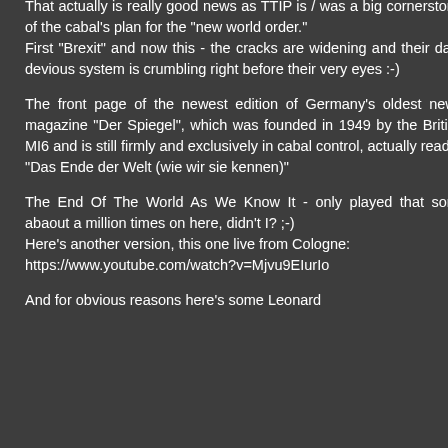That actually is really good news as TTIP is / was a big cornerstone of the cabal's plan for the "new world order." First "Brexit" and now this - the cracks are widening and their dark devious system is crumbling right before their very eyes :-)
The front page of the newest edition of Germany's oldest news magazine "Der Spiegel", which was founded in 1949 by the British MI6 and is still firmly and exclusively in cabal control, actually reads
"Das Ende der Welt (wie wir sie kennen)"
The End Of The World As We Know It - only played that song abaout a million times on here, didn't I? ;-)
Here's another version, this one live from Cologne:
https://www.youtube.com/watch?v=Mjvu9EIurIo
And for obvious reasons here's some Leonard